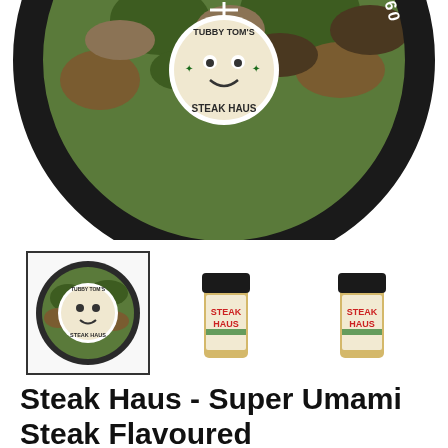[Figure (photo): Close-up top view of Tubby Tom's Steak Haus tin lid showing camo pattern with text 'FLAME GRILLED STEAK FLAVOURING' around the edge, partially cropped]
[Figure (photo): Three product thumbnails: first is the tin lid (selected/highlighted), second and third are small spice shaker bottles labeled 'Steak Haus']
Steak Haus - Super Umami Steak Flavoured Seasoning